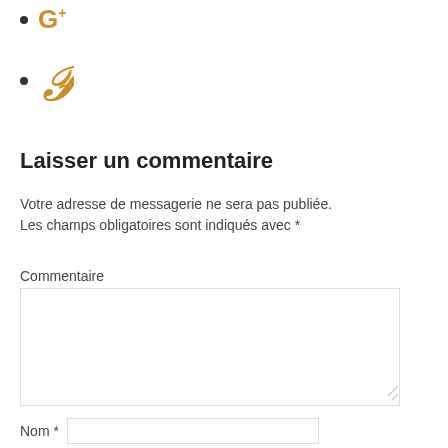G+
𝒫 (Pinterest icon)
Laisser un commentaire
Votre adresse de messagerie ne sera pas publiée. Les champs obligatoires sont indiqués avec *
Commentaire
Nom *
Adresse de messagerie *